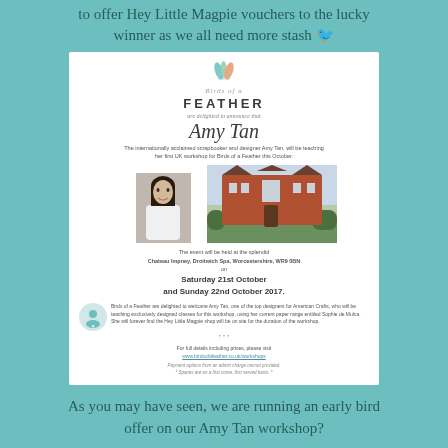to offer Hey Little Magpie vouchers to the lucky winner as we all need more stash 🐦
[Figure (infographic): Birds of a Feather workshop flyer featuring Amy Tan, with photos of Amy Tan and a venue (Chateau Impney, Droitwich Spa, Worcestershire), dates Saturday 21st October and Sunday 22nd October 2017, and event details.]
As you may have seen, we are running an early bird offer on our Amy Tan workshop?
The early bird offer finishes tonight, August 4th at